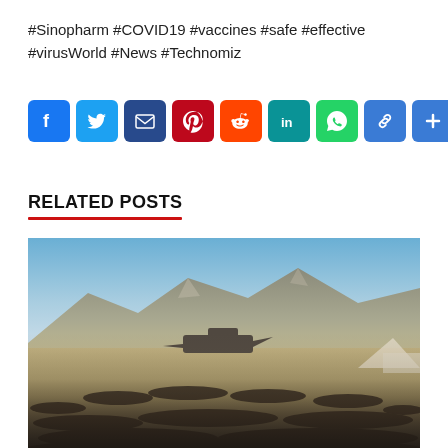#Sinopharm #COVID19 #vaccines #safe #effective #virusWorld #News #Technomiz
[Figure (infographic): Row of 9 social media share buttons: Facebook (blue), Twitter (light blue), Email (dark blue), Pinterest (red), Reddit (orange-red), LinkedIn (teal), WhatsApp (green), Copy Link (blue), More/Add (blue)]
RELATED POSTS
[Figure (photo): Crowd of people gathered at Kabul airport with a military transport aircraft visible, mountains in the background under a blue sky]